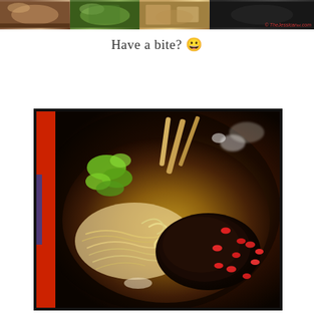[Figure (photo): Top strip of four food photos collage with watermark TheJessicaXxx.com]
Have a bite? 😀
[Figure (photo): Close-up photo of Asian noodle soup in a black bowl with red rim, containing noodles, bok choy, braised meat, wolfberries/goji berries, and bamboo sticks in dark broth]